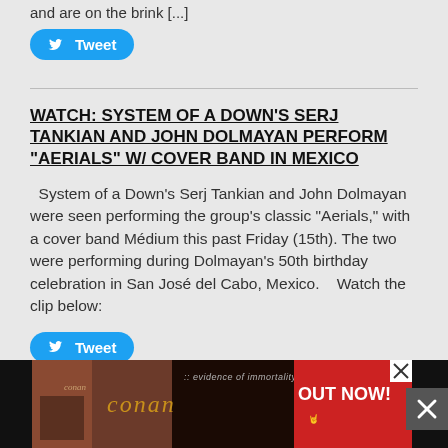and are on the brink [...]
Tweet
WATCH: SYSTEM OF A DOWN'S SERJ TANKIAN AND JOHN DOLMAYAN PERFORM "AERIALS" W/ COVER BAND IN MEXICO
System of a Down's Serj Tankian and John Dolmayan were seen performing the group's classic "Aerials," with a cover band Médium this past Friday (15th). The two were performing during Dolmayan's 50th birthday celebration in San José del Cabo, Mexico.   Watch the clip below:
Tweet
[Figure (screenshot): Advertisement banner for Conan album 'Evidence of Immortality' - OUT NOW!]